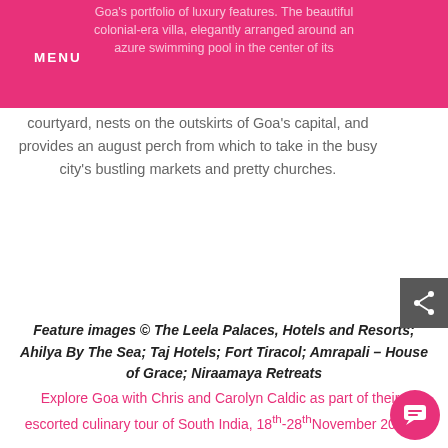MENU
courtyard, nests on the outskirts of Goa’s capital, and provides an august perch from which to take in the busy city’s bustling markets and pretty churches.
Feature images © The Leela Palaces, Hotels and Resorts; Ahilya By The Sea; Taj Hotels; Fort Tiracol; Amrapali – House of Grace; Niraamaya Retreats
Explore Goa with Chris and Carolyn Caldic as part of their escorted culinary tour of South India, 18th-28th November 2018.